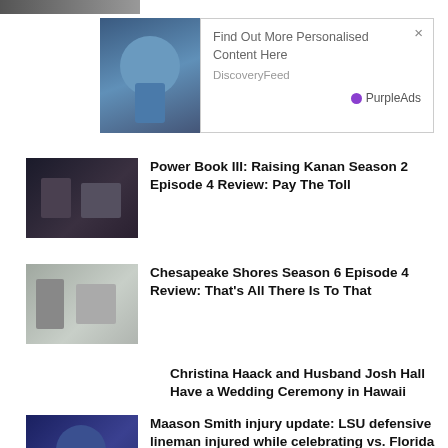[Figure (photo): Cropped top strip showing partial image]
[Figure (screenshot): Advertisement popup: 'Find Out More Personalised Content Here' from DiscoveryFeed, branded PurpleAds, with X close button and person reaching out image]
[Figure (photo): Thumbnail for Power Book III article, dark scene with people]
Power Book III: Raising Kanan Season 2 Episode 4 Review: Pay The Toll
[Figure (photo): Thumbnail for Chesapeake Shores article, indoor scene with people]
Chesapeake Shores Season 6 Episode 4 Review: That's All There Is To That
Christina Haack and Husband Josh Hall Have a Wedding Ceremony in Hawaii
[Figure (photo): Thumbnail for Maason Smith article, LSU football player in uniform]
Maason Smith injury update: LSU defensive lineman injured while celebrating vs. Florida State